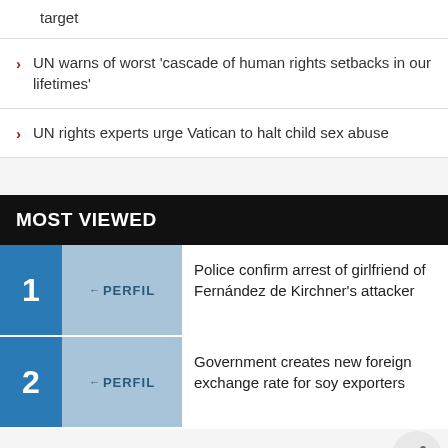target
UN warns of worst 'cascade of human rights setbacks in our lifetimes'
UN rights experts urge Vatican to halt child sex abuse
MOST VIEWED
1 Police confirm arrest of girlfriend of Fernández de Kirchner's attacker
2 Government creates new foreign exchange rate for soy exporters